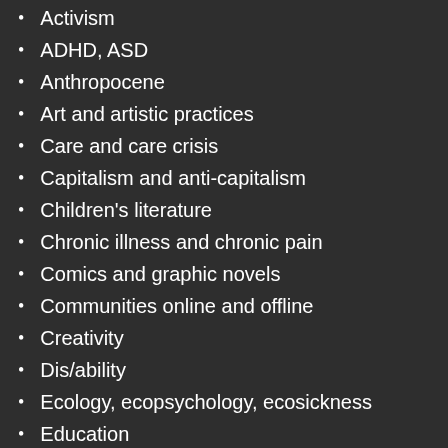Activism
ADHD, ASD
Anthropocene
Art and artistic practices
Care and care crisis
Capitalism and anti-capitalism
Children's literature
Chronic illness and chronic pain
Comics and graphic novels
Communities online and offline
Creativity
Dis/ability
Ecology, ecopsychology, ecosickness
Education
Fantasy
Fantastic franchises
Film and television
Gaming and gamification
Gender